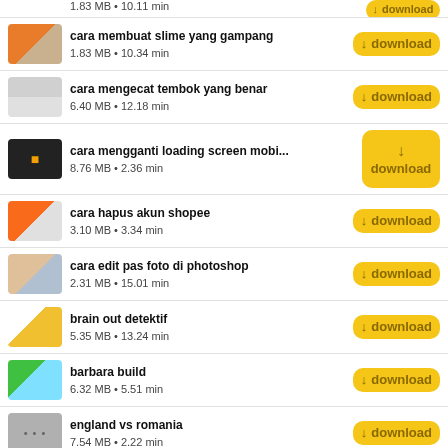cara membuat slime yang gampang | 1.83 MB • 10.34 min
cara mengecat tembok yang benar | 6.40 MB • 12.18 min
cara mengganti loading screen mobi... | 8.76 MB • 2.36 min
cara hapus akun shopee | 3.10 MB • 3.34 min
cara edit pas foto di photoshop | 2.31 MB • 15.01 min
brain out detektif | 5.35 MB • 13.24 min
barbara build | 6.32 MB • 5.51 min
england vs romania | 7.54 MB • 2.22 min